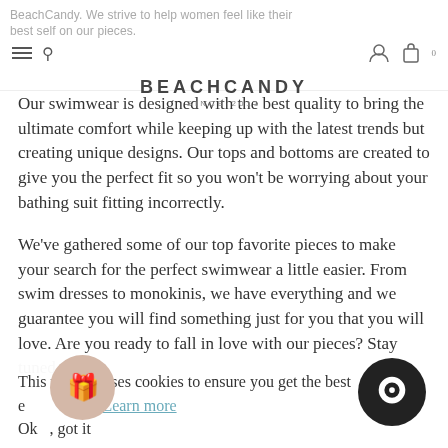BeachCandy. We strive to help women feel like their best self on our pieces. BEACHCANDY SINCE 2011
Our swimwear is designed with the best quality to bring the ultimate comfort while keeping up with the latest trends but creating unique designs. Our tops and bottoms are created to give you the perfect fit so you won't be worrying about your bathing suit fitting incorrectly.
We've gathered some of our top favorite pieces to make your search for the perfect swimwear a little easier. From swim dresses to monokinis, we have everything and we guarantee you will find something just for you that you will love. Are you ready to fall in love with our pieces? Stay tuned
This website uses cookies to ensure you get the best experience. Learn more
Ok, got it